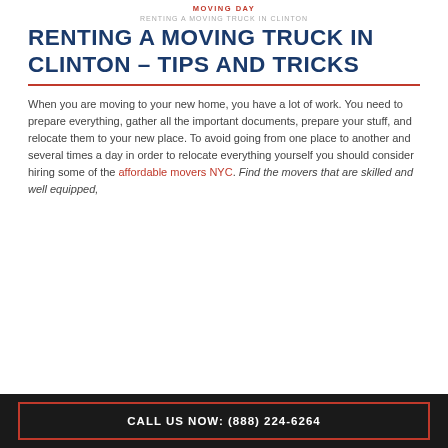MOVING DAY
RENTING A MOVING TRUCK IN CLINTON – TIPS AND TRICKS
When you are moving to your new home, you have a lot of work. You need to prepare everything, gather all the important documents, prepare your stuff, and relocate them to your new place. To avoid going from one place to another and several times a day in order to relocate everything yourself you should consider hiring some of the affordable movers NYC. Find the movers that are skilled and well equipped,
CALL US NOW: (888) 224-6264